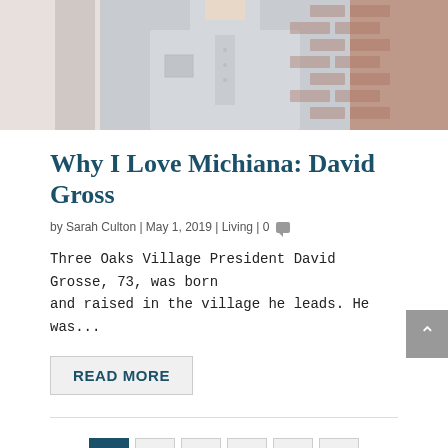[Figure (photo): Photo of a man in a light blue button-up shirt standing in front of a brick wall and white column]
Why I Love Michiana: David Gross
by Sarah Culton | May 1, 2019 | Living | 0
Three Oaks Village President David Grosse, 73, was born and raised in the village he leads. He was...
READ MORE
1 2 3 ... 7 >